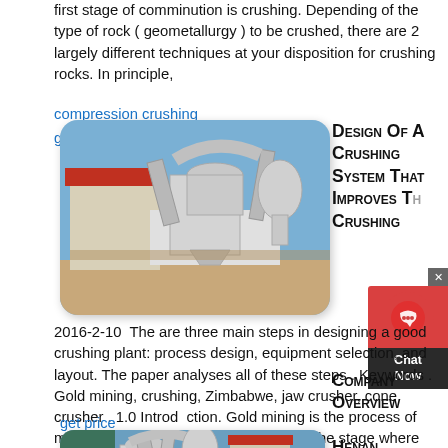first stage of comminution is crushing. Depending of the type of rock ( geometallurgy ) to be crushed, there are 2 largely different techniques at your disposition for crushing rocks. In principle,
compression crushing
get price
[Figure (photo): Industrial crushing/milling machine equipment outdoors near a building with red roof and blue sky]
Design Of A Crushing System That Improves The Crushing
[Figure (other): Chat widget with red circle icon and dark Chat Now button]
2016-2-10  There are three main steps in designing a good crushing plant: process design, equipment selection, and layout. The paper analyses all of these steps . Keywords . Gold mining, crushing, Zimbabwe, jaw crusher, cone crusher . 1.0 Introduction. Gold mining is the process of mining gold ores from the ground up till the stage where pure gold is
get price
[Figure (photo): Industrial milling/crushing equipment with large pipes and cyclone structures, blue sky background, red-roofed building]
Company Overview
Henan Longjian Electric